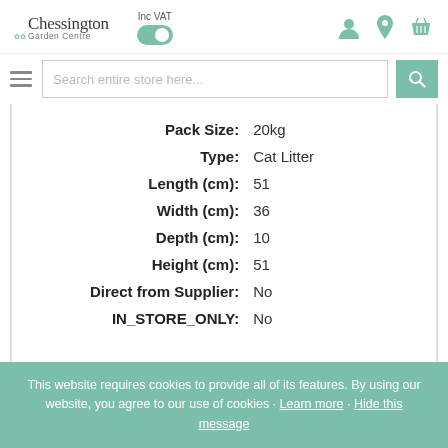[Figure (logo): Chessington Garden Centre logo with leaf icon]
[Figure (screenshot): Inc VAT toggle switch (on), user icon, location pin icon, shopping basket icon]
[Figure (screenshot): Search bar with hamburger menu and search button]
| Attribute | Value |
| --- | --- |
| Pack Size: | 20kg |
| Type: | Cat Litter |
| Length (cm): | 51 |
| Width (cm): | 36 |
| Depth (cm): | 10 |
| Height (cm): | 51 |
| Direct from Supplier: | No |
| IN_STORE_ONLY: | No |
This website requires cookies to provide all of its features. By using our website, you agree to our use of cookies · Learn more · Hide this message